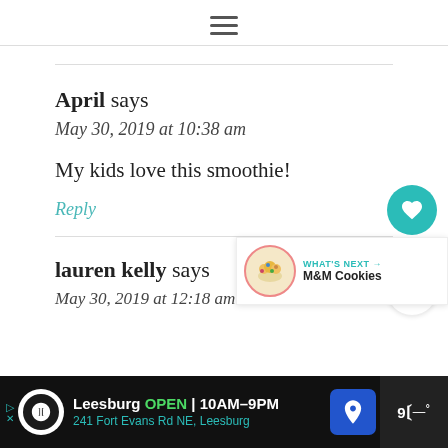≡
April says
May 30, 2019 at 10:38 am
My kids love this smoothie!
Reply
2.9K
lauren kelly says
May 30, 2019 at 12:18 am
[Figure (infographic): WHAT'S NEXT arrow with M&M Cookies label and cookie image]
[Figure (infographic): Advertisement bar: Leesburg OPEN 10AM-9PM, 241 Fort Evans Rd NE, Leesburg]